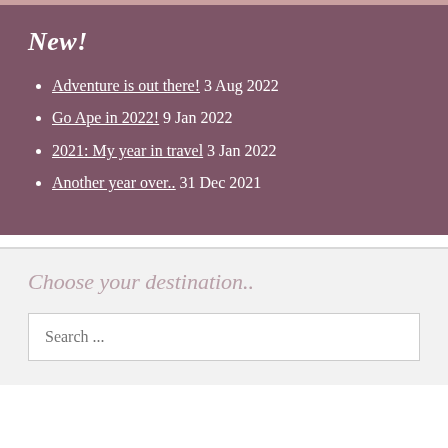New!
Adventure is out there! 3 Aug 2022
Go Ape in 2022! 9 Jan 2022
2021: My year in travel 3 Jan 2022
Another year over.. 31 Dec 2021
Choose your destination..
Search ...